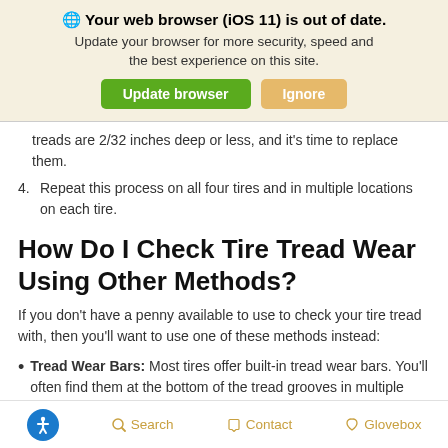🌐 Your web browser (iOS 11) is out of date. Update your browser for more security, speed and the best experience on this site.
Update browser | Ignore
treads are 2/32 inches deep or less, and it's time to replace them.
4. Repeat this process on all four tires and in multiple locations on each tire.
How Do I Check Tire Tread Wear Using Other Methods?
If you don't have a penny available to use to check your tire tread with, then you'll want to use one of these methods instead:
Tread Wear Bars: Most tires offer built-in tread wear bars. You'll often find them at the bottom of the tread grooves in multiple locations across the tire. If the bars are flush with
Search   Contact   Glovebox